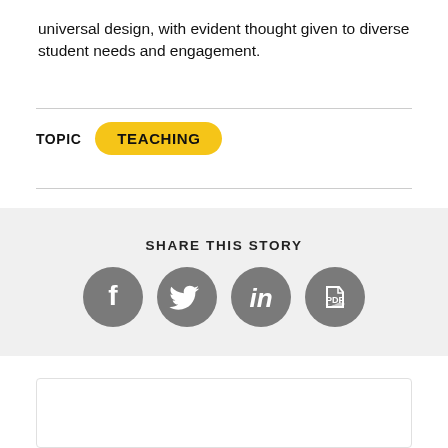universal design, with evident thought given to diverse student needs and engagement.
TOPIC  TEACHING
SHARE THIS STORY
[Figure (infographic): Four social media sharing icons: Facebook, Twitter, LinkedIn, and PDF/Adobe Acrobat — all grey circles with white symbols]
Up Next ...
[Figure (photo): Colorful woven textile blankets with a hat and what appears to be a bird or feather, photographed outdoors]